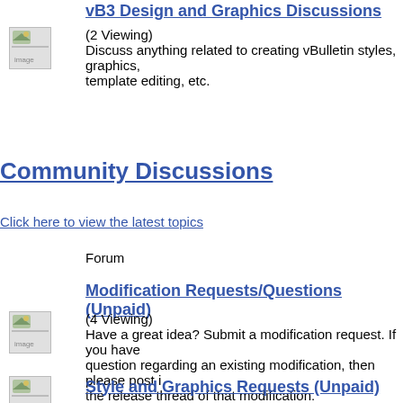vB3 Design and Graphics Discussions
[Figure (illustration): Forum icon - small image placeholder with broken image icon]
(2 Viewing)
Discuss anything related to creating vBulletin styles, graphics, template editing, etc.
Community Discussions
Click here to view the latest topics
Forum
Modification Requests/Questions (Unpaid)
[Figure (illustration): Forum icon - small image placeholder with broken image icon]
(4 Viewing)
Have a great idea? Submit a modification request. If you have a question regarding an existing modification, then please post in the release thread of that modification.
Style and Graphics Requests (Unpaid)
[Figure (illustration): Forum icon - small image placeholder with broken image icon]